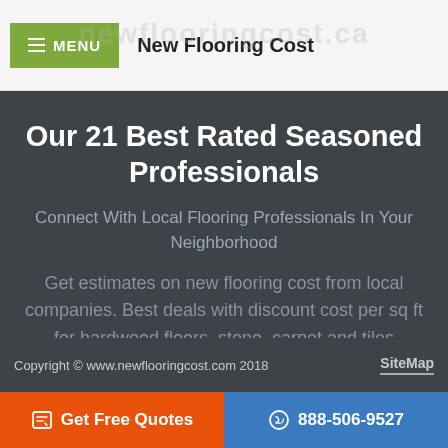MENU  New Flooring Cost
Our 21 Best Rated Seasoned Professionals
Connect With Local Flooring Professionals In Your Neighborhood
Get estimates on new flooring cost from local companies. Best deals with discount cost per sq ft for hardwood floors, stone, carpet and tiles installations in your home.
Copyright © www.newflooringcost.com 2018   SiteMap
Get Free Quotes   888-506-9527